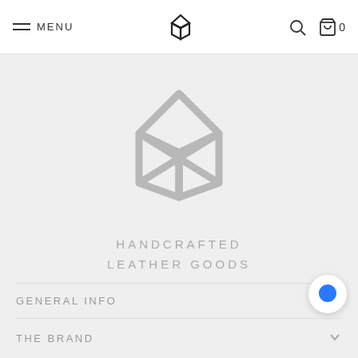MENU | [logo] | [search] [cart] 0
[Figure (logo): Large geometric fox/bowtie logo mark in grey, centered on light grey background]
HANDCRAFTED LEATHER GOODS
GENERAL INFO
THE BRAND